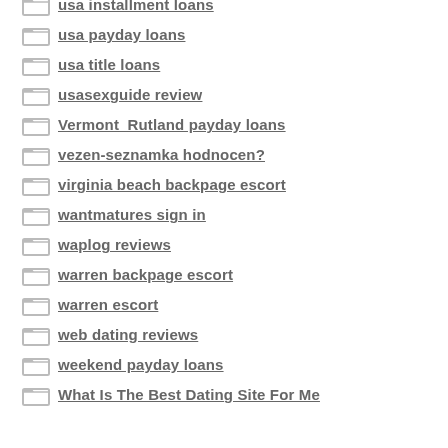usa installment loans
usa payday loans
usa title loans
usasexguide review
Vermont_Rutland payday loans
vezen-seznamka hodnocen?
virginia beach backpage escort
wantmatures sign in
waplog reviews
warren backpage escort
warren escort
web dating reviews
weekend payday loans
What Is The Best Dating Site For Me